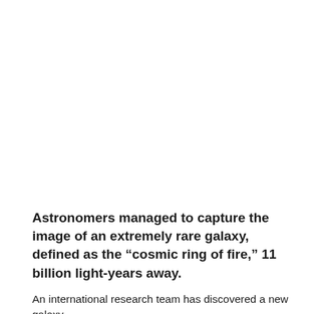Astronomers managed to capture the image of an extremely rare galaxy, defined as the “cosmic ring of fire,” 11 billion light-years away.
An international research team has discovered a new galaxy